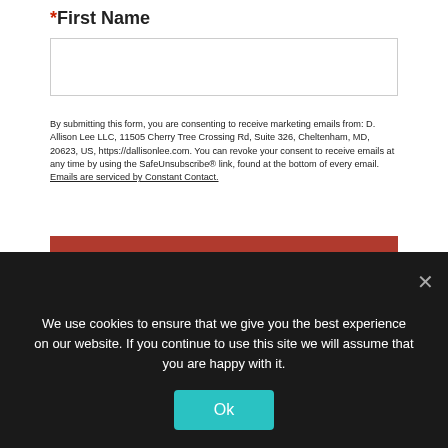*First Name
By submitting this form, you are consenting to receive marketing emails from: D. Allison Lee LLC, 11505 Cherry Tree Crossing Rd, Suite 326, Cheltenham, MD, 20623, US, https://dallisonlee.com. You can revoke your consent to receive emails at any time by using the SafeUnsubscribe® link, found at the bottom of every email. Emails are serviced by Constant Contact.
Sign Up!
Recent Posts
We use cookies to ensure that we give you the best experience on our website. If you continue to use this site we will assume that you are happy with it.
Ok